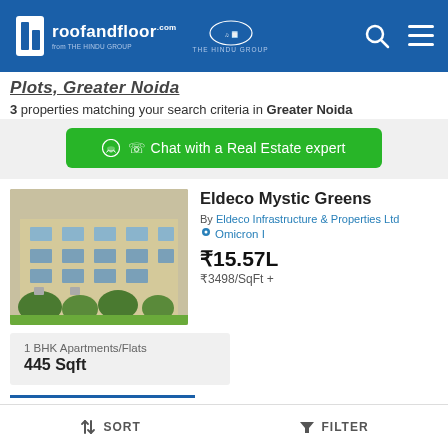roofandfloor.com from THE HINDU GROUP | THE HINDU GROUP
3 properties matching your search criteria in Greater Noida
Chat with a Real Estate expert
Eldeco Mystic Greens
By Eldeco Infrastructure & Properties Ltd
Omicron I
₹15.57L
₹3498/SqFt +
| Type | Area |
| --- | --- |
| 1 BHK Apartments/Flats | 445 Sqft |
SORT  FILTER